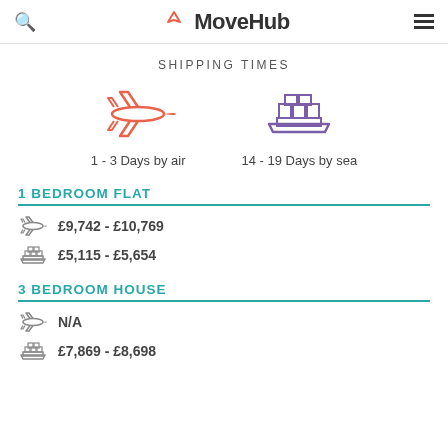MoveHub
SHIPPING TIMES
[Figure (infographic): Airplane icon (orange) with label '1 - 3 Days by air' and ship icon (purple) with label '14 - 19 Days by sea']
1 BEDROOM FLAT
£9,742 - £10,769
£5,115 - £5,654
3 BEDROOM HOUSE
N/A
£7,869 - £8,698